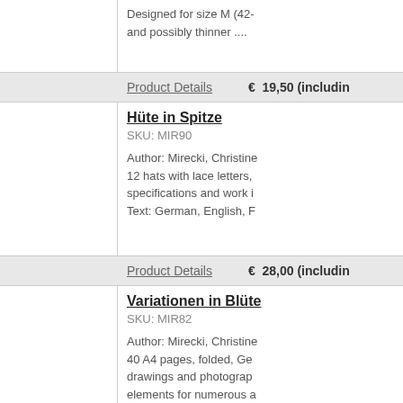Designed for size M (42- and possibly thinner ....
Product Details   € 19,50 (includin
Hüte in Spitze
SKU: MIR90
Author: Mirecki, Christine
12 hats with lace letters, specifications and work i
Text: German, English, F
Product Details   € 28,00 (includin
Variationen in Blüte
SKU: MIR82
Author: Mirecki, Christine
40 A4 pages, folded, Ge
drawings and photograp
elements for numerous a
Product Details   € 34,00 (includ